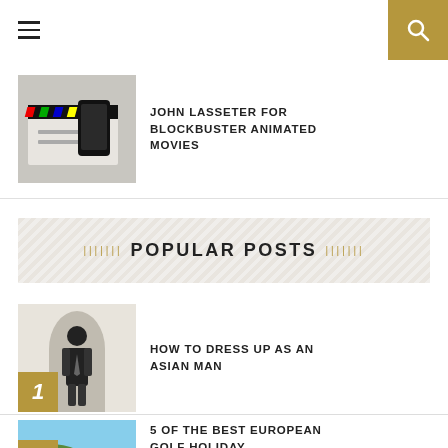Navigation header with hamburger menu and search button
JOHN LASSETER FOR BLOCKBUSTER ANIMATED MOVIES
POPULAR POSTS
HOW TO DRESS UP AS AN ASIAN MAN
5 OF THE BEST EUROPEAN GOLF HOLIDAY DESTINATIONS